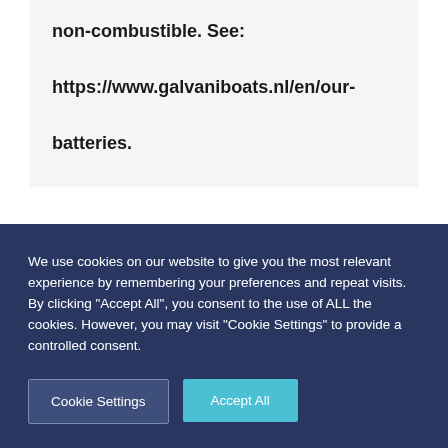non-combustible. See: https://www.galvaniboats.nl/en/our-batteries.
We use cookies on our website to give you the most relevant experience by remembering your preferences and repeat visits. By clicking “Accept All”, you consent to the use of ALL the cookies. However, you may visit "Cookie Settings" to provide a controlled consent.
Cookie Settings
Accept All